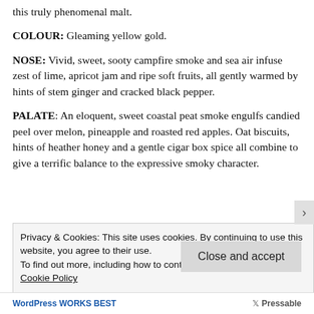this truly phenomenal malt.
COLOUR: Gleaming yellow gold.
NOSE: Vivid, sweet, sooty campfire smoke and sea air infuse zest of lime, apricot jam and ripe soft fruits, all gently warmed by hints of stem ginger and cracked black pepper.
PALATE: An eloquent, sweet coastal peat smoke engulfs candied peel over melon, pineapple and roasted red apples. Oat biscuits, hints of heather honey and a gentle cigar box spice all combine to give a terrific balance to the expressive smoky character.
Privacy & Cookies: This site uses cookies. By continuing to use this website, you agree to their use.
To find out more, including how to control cookies, see here: Cookie Policy
Close and accept
WordPress WORKS BEST | Pressable